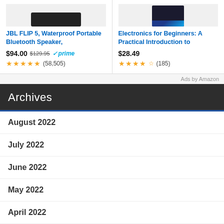[Figure (screenshot): Amazon product ad - JBL FLIP 5 Bluetooth Speaker partial image at top]
JBL FLIP 5, Waterproof Portable Bluetooth Speaker,
$94.00 $129.95 ✓prime ★★★★★ (58,505)
[Figure (screenshot): Amazon product ad - Electronics for Beginners book cover image]
Electronics for Beginners: A Practical Introduction to
$28.49 ★★★★½ (185)
Ads by Amazon
Archives
August 2022
July 2022
June 2022
May 2022
April 2022